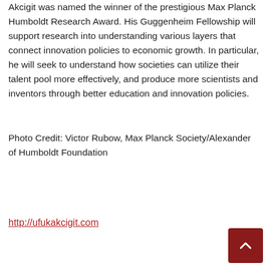Akcigit was named the winner of the prestigious Max Planck Humboldt Research Award. His Guggenheim Fellowship will support research into understanding various layers that connect innovation policies to economic growth. In particular, he will seek to understand how societies can utilize their talent pool more effectively, and produce more scientists and inventors through better education and innovation policies.
Photo Credit: Victor Rubow, Max Planck Society/Alexander of Humboldt Foundation
http://ufukakcigit.com